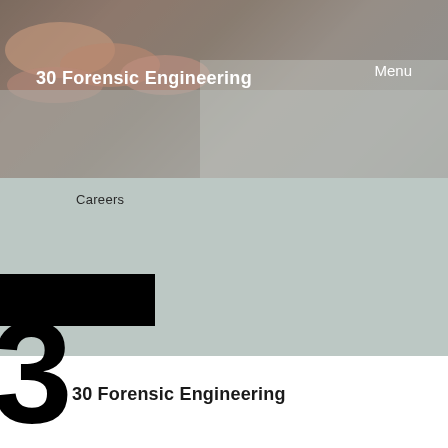[Figure (photo): Hero banner photo showing close-up of fingers on a surface, with dark overlay. Contains site title '30 Forensic Engineering' and 'Menu' navigation link in white text.]
30 Forensic Engineering
Menu
Careers
[Figure (infographic): Large decorative number '3' partially visible in black on a muted green-grey background, with a black horizontal bar above it.]
30 Forensic Engineering